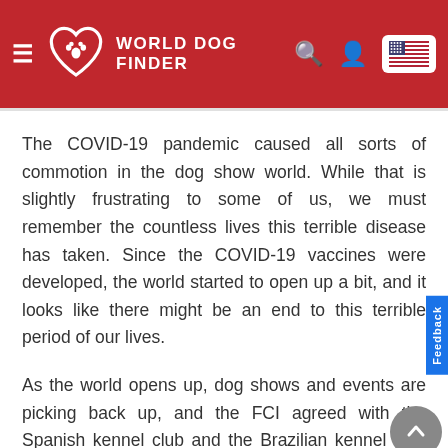World Dog Finder
The COVID-19 pandemic caused all sorts of commotion in the dog show world. While that is slightly frustrating to some of us, we must remember the countless lives this terrible disease has taken. Since the COVID-19 vaccines were developed, the world started to open up a bit, and it looks like there might be an end to this terrible period of our lives.
As the world opens up, dog shows and events are picking back up, and the FCI agreed with the Spanish kennel club and the Brazilian kennel club regarding the 2020 and 2022 world shows. If you're planning on attending the 2... World Dog Show, here are some important...